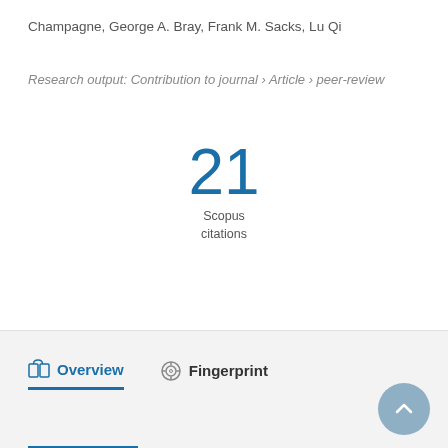Champagne, George A. Bray, Frank M. Sacks, Lu Qi
Research output: Contribution to journal › Article › peer-review
21 Scopus citations
Overview
Fingerprint